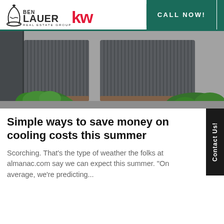[Figure (logo): Ben Lauer Real Estate Group KW (Keller Williams) logo]
CALL NOW!
[Figure (photo): Outdoor HVAC air conditioning unit with green shrubs around it against a grey siding house]
Simple ways to save money on cooling costs this summer
Scorching. That’s the type of weather the folks at almanac.com say we can expect this summer. “On average, we’re predicting...
Contact Us!